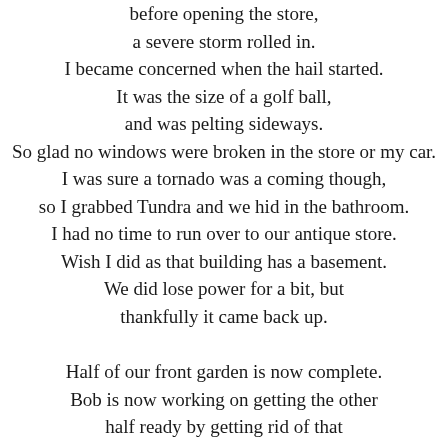before opening the store, a severe storm rolled in. I became concerned when the hail started. It was the size of a golf ball, and was pelting sideways. So glad no windows were broken in the store or my car. I was sure a tornado was a coming though, so I grabbed Tundra and we hid in the bathroom. I had no time to run over to our antique store. Wish I did as that building has a basement. We did lose power for a bit, but thankfully it came back up. Half of our front garden is now complete. Bob is now working on getting the other half ready by getting rid of that invasive shrub that did NOT die. We call it the beast. We are not sure at this point if we should plant more shrubs or wait a year.